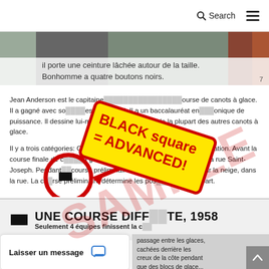Search
[Figure (photo): Photo strip showing people, with overlay text: 'il porte une ceinture lâchée autour de la taille. Bonhomme a quatre boutons noirs.' Page number 7 visible.]
Jean Anderson est le capitaine... course de canots à glace. Il a gagné avec so... est un record. Il a un baccalauréat en... onique de puissance. Il dessine lui-même... es de la plupart des autres canots à glace.
Il y a trois catégories: C... mes, Compétition-B... Par... pation. Avant la course finale de... glace, on tient la course pré... re... la rue Saint-Joseph. Pendant la course préliminaire on tire les canots à g... ur la neige, dans la rue. La course préliminaire détermine les positions de départ.
[Figure (infographic): Yellow badge with red border reading 'BLACK square = ADVANCED!' with red arrow pointing left to a black square symbol in a red circle.]
UNE COURSE DIFFÉRENTE, 1958
Seulement 4 équipes finissent la c...
passage entre les glaces, cachées derrière les creux de la côte pendant que des blocs de glace...
Laisser un message